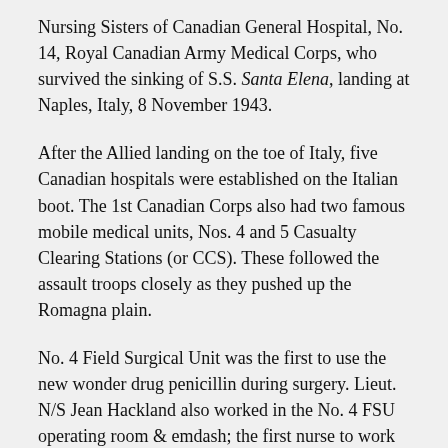Nursing Sisters of Canadian General Hospital, No. 14, Royal Canadian Army Medical Corps, who survived the sinking of S.S. Santa Elena, landing at Naples, Italy, 8 November 1943.
After the Allied landing on the toe of Italy, five Canadian hospitals were established on the Italian boot. The 1st Canadian Corps also had two famous mobile medical units, Nos. 4 and 5 Casualty Clearing Stations (or CCS). These followed the assault troops closely as they pushed up the Romagna plain.
No. 4 Field Surgical Unit was the first to use the new wonder drug penicillin during surgery. Lieut. N/S Jean Hackland also worked in the No. 4 FSU operating room & emdash; the first nurse to work in a forward combat area.
In December 1943 in Ortona, No. 4 Casualty Clearing Station received over 2,000 casualties, including 760 surgical cases. Following the fall of Rome, and the collapse of the German army in Italy, Canadian military personnel began to be transferred to France. (http://www.nurses.ab.ca/)